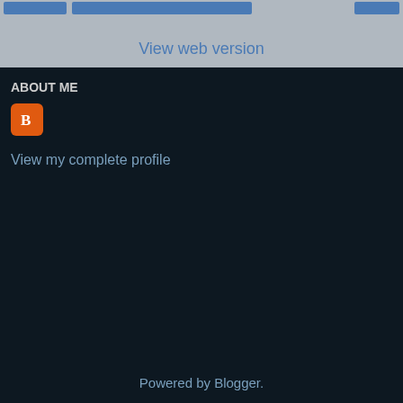View web version
ABOUT ME
[Figure (logo): Blogger orange square icon with white B letter]
View my complete profile
Powered by Blogger.